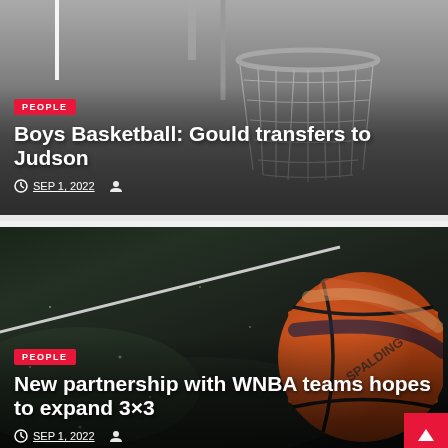[Figure (photo): Basketball hoop and net, grayscale photo, viewed from below]
PEOPLE
Boys Basketball: Gould transfers to Judson
SEP 1, 2022
[Figure (photo): Spalding orange basketball resting on dark basketball court with white line markings]
PEOPLE
New partnership with WNBA teams hopes to expand 3×3
SEP 1, 2022